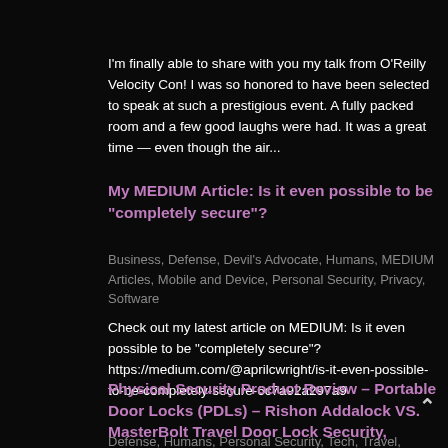I'm finally able to share with you my talk from O'Reilly Velocity Con! I was so honored to have been selected to speak at such a prestigious event. A fully packed room and a few good laughs were had. It was a great time — even though the air...
My MEDIUM Article: Is it even possible to be "completely secure"?
Business, Defense, Devil's Advocate, Humans, MEDIUM Articles, Mobile and Device, Personal Security, Privacy, Software
Check out my latest article on MEDIUM: Is it even possible to be "completely secure"? https://medium.com/@aprilcwright/is-it-even-possible-to-be-completely-secure-6c7a92a297a9
Physical Security Product Review – Portable Door Locks (PDLs) – Rishon Addalock VS. MasterBolt Travel Door Lock Security, Compared
Defense, Humans, Personal Security, Tech, Travel,